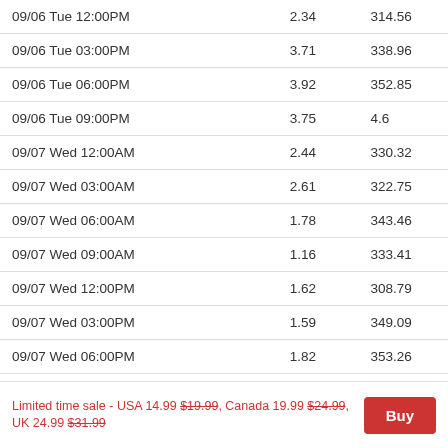| 09/06 Tue 12:00PM | 2.34 | 314.56 |
| 09/06 Tue 03:00PM | 3.71 | 338.96 |
| 09/06 Tue 06:00PM | 3.92 | 352.85 |
| 09/06 Tue 09:00PM | 3.75 | 4.6 |
| 09/07 Wed 12:00AM | 2.44 | 330.32 |
| 09/07 Wed 03:00AM | 2.61 | 322.75 |
| 09/07 Wed 06:00AM | 1.78 | 343.46 |
| 09/07 Wed 09:00AM | 1.16 | 333.41 |
| 09/07 Wed 12:00PM | 1.62 | 308.79 |
| 09/07 Wed 03:00PM | 1.59 | 349.09 |
| 09/07 Wed 06:00PM | 1.82 | 353.26 |
| 09/07 Wed 09:00PM | 2.25 | 17.32 |
| 09/08 Thu 12:00AM | 1.45 | 327.87 |
Limited time sale - USA 14.99 $19.99, Canada 19.99 $24.99, UK 24.99 $31.99